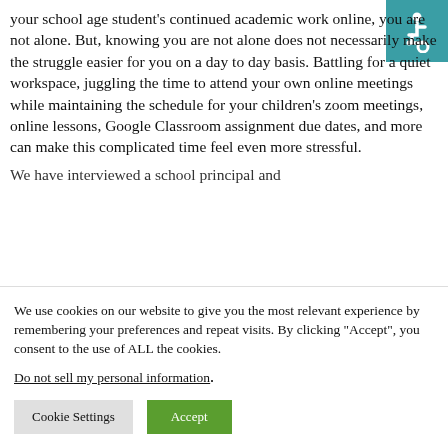your school age student's continued academic work online, you are not alone. But, knowing you are not alone does not necessarily make the struggle easier for you on a day to day basis. Battling for a quiet workspace, juggling the time to attend your own online meetings while maintaining the schedule for your children's zoom meetings, online lessons, Google Classroom assignment due dates, and more can make this complicated time feel even more stressful.
[Figure (illustration): Accessibility icon: white wheelchair user symbol on teal/green background square]
We have interviewed a school principal and
We use cookies on our website to give you the most relevant experience by remembering your preferences and repeat visits. By clicking "Accept", you consent to the use of ALL the cookies.
Do not sell my personal information.
Cookie Settings
Accept